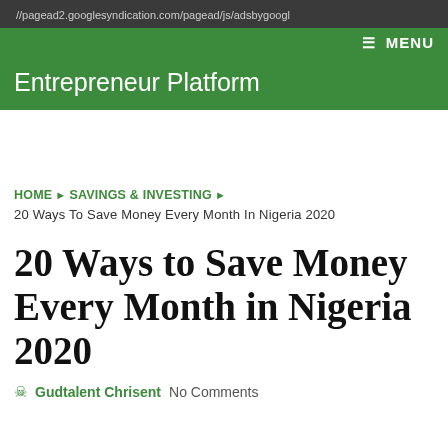//pagead2.googlesyndication.com/pagead/js/adsbygoogl
≡ MENU
Entrepreneur Platform
[Figure (other): Advertisement space (blank white area)]
HOME ▶ SAVINGS & INVESTING ▶ 20 Ways To Save Money Every Month In Nigeria 2020
20 Ways to Save Money Every Month in Nigeria 2020
👤 Gudtalent Chrisent   No Comments